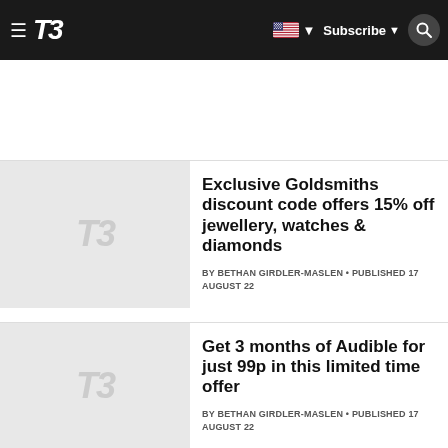T3 — Subscribe | Navigation
Exclusive Goldsmiths discount code offers 15% off jewellery, watches & diamonds
BY BETHAN GIRDLER-MASLEN • PUBLISHED 17 AUGUST 22
Get 3 months of Audible for just 99p in this limited time offer
BY BETHAN GIRDLER-MASLEN • PUBLISHED 17 AUGUST 22